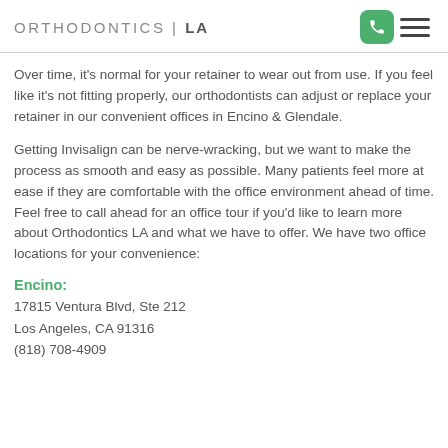ORTHODONTICS | LA
Over time, it's normal for your retainer to wear out from use. If you feel like it's not fitting properly, our orthodontists can adjust or replace your retainer in our convenient offices in Encino & Glendale.
Getting Invisalign can be nerve-wracking, but we want to make the process as smooth and easy as possible. Many patients feel more at ease if they are comfortable with the office environment ahead of time. Feel free to call ahead for an office tour if you'd like to learn more about Orthodontics LA and what we have to offer. We have two office locations for your convenience:
Encino:
17815 Ventura Blvd, Ste 212
Los Angeles, CA 91316
(818) 708-4909